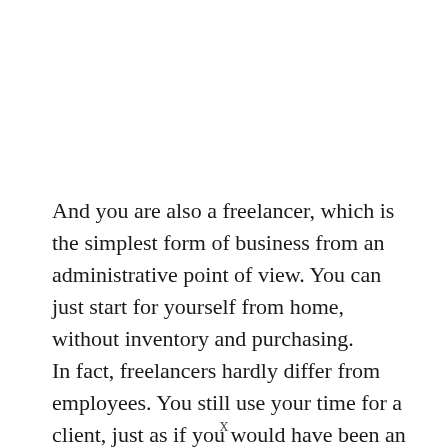And you are also a freelancer, which is the simplest form of business from an administrative point of view. You can just start for yourself from home, without inventory and purchasing.
In fact, freelancers hardly differ from employees. You still use your time for a client, just as if you would have been an employee. So
x